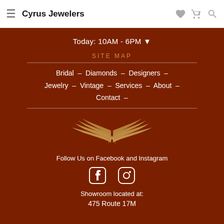Cyrus Jewelers
Today: 10AM - 6PM
SITE MAP
Bridal – Diamonds – Designers – Jewelry – Vintage – Services – About – Contact –
[Figure (logo): Golden wing/eagle crest logo for Cyrus Jewelers]
Follow Us on Facebook and Instagram
[Figure (illustration): Facebook and Instagram social media icons]
Showroom located at:
475 Route 17M